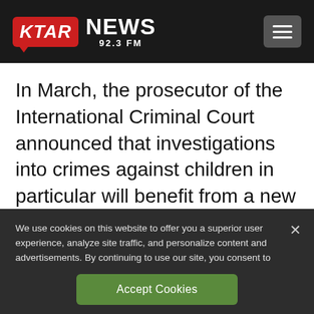KTAR NEWS 92.3 FM
In March, the prosecutor of the International Criminal Court announced that investigations into crimes against children in particular will benefit from a new trust fund. Children account for half or more of those affected by
We use cookies on this website to offer you a superior user experience, analyze site traffic, and personalize content and advertisements. By continuing to use our site, you consent to our use of cookies. Please visit our Privacy Policy for more information.
Accept Cookies